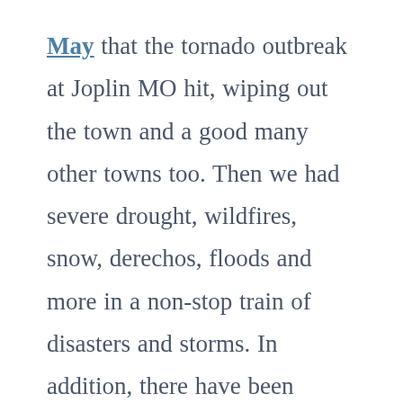May that the tornado outbreak at Joplin MO hit, wiping out the town and a good many other towns too. Then we had severe drought, wildfires, snow, derechos, floods and more in a non-stop train of disasters and storms. In addition, there have been thwarted terrorist attacks, mass shootings, Molotov cocktails, and unparallelled violence in Detroit and other cities. Th...